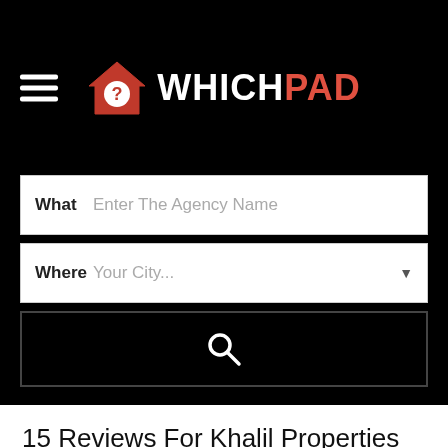[Figure (logo): WhichPad logo with house icon containing a question mark, text WHICH in white and PAD in red/coral]
What   Enter The Agency Name
Where  Your City...
[Figure (other): Search button with magnifying glass icon on black background]
15 Reviews For Khalil Properties
[Figure (photo): Circular profile photo showing a group of people posing together]